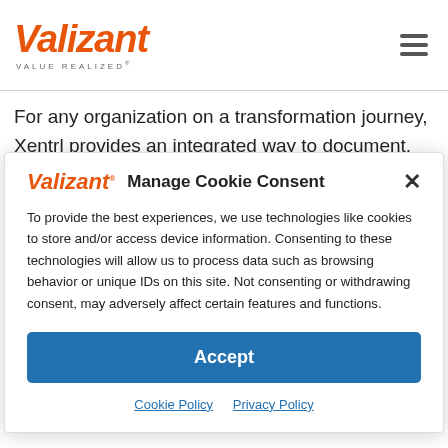Valizant VALUE REALIZED
For any organization on a transformation journey, Xentrl provides an integrated way to document, collaborate and finalize every
Manage Cookie Consent
To provide the best experiences, we use technologies like cookies to store and/or access device information. Consenting to these technologies will allow us to process data such as browsing behavior or unique IDs on this site. Not consenting or withdrawing consent, may adversely affect certain features and functions.
Accept
Cookie Policy  Privacy Policy